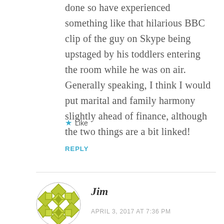done so have experienced something like that hilarious BBC clip of the guy on Skype being upstaged by his toddlers entering the room while he was on air. Generally speaking, I think I would put marital and family harmony slightly ahead of finance, although the two things are a bit linked!
★ Like
REPLY
[Figure (illustration): Circular decorative avatar with a green/olive geometric quilt-like pattern on white background]
Jim
APRIL 3, 2017 AT 7:36 PM